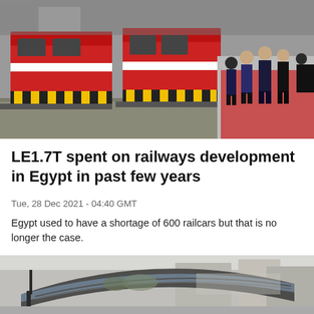[Figure (photo): Red and white diesel locomotives at a station platform with officials in suits and face masks standing to the right on a red carpet.]
LE1.7T spent on railways development in Egypt in past few years
Tue, 28 Dec 2021 - 04:40 GMT
Egypt used to have a shortage of 600 railcars but that is no longer the case.
[Figure (photo): Railway station with a large curved steel and glass canopy roof structure, city buildings visible in background.]